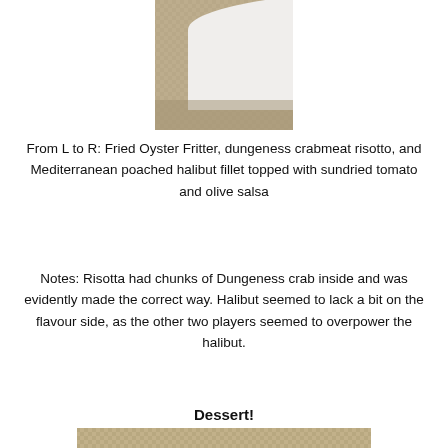[Figure (photo): Top portion of a food photo showing a white plate with food items on a woven placemat background, partially cropped at top of page.]
From L to R: Fried Oyster Fritter, dungeness crabmeat risotto, and Mediterranean poached halibut fillet topped with sundried tomato and olive salsa
Notes: Risotta had chunks of Dungeness crab inside and was evidently made the correct way. Halibut seemed to lack a bit on the flavour side, as the other two players seemed to overpower the halibut.
Dessert!
[Figure (photo): A white rectangular plate with a dessert presentation: a small square dish with a white scoop of ice cream, a round chocolate tart with a red sphere on top, a decorative green leaf, a red sauce spoon design, and a black spoon, all on a woven placemat.]